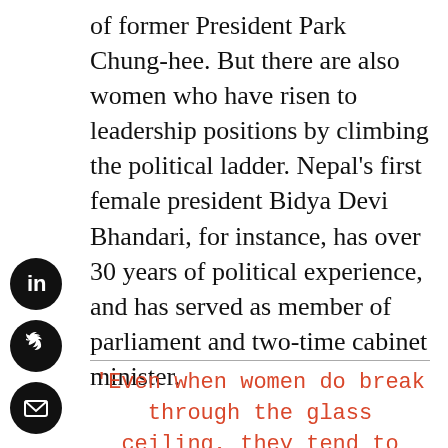of former President Park Chung-hee. But there are also women who have risen to leadership positions by climbing the political ladder. Nepal's first female president Bidya Devi Bhandari, for instance, has over 30 years of political experience, and has served as member of parliament and two-time cabinet minister.
'Even when women do break through the glass ceiling, they tend to find